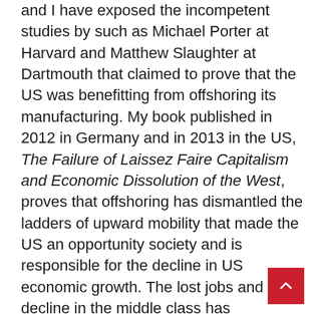and I have exposed the incompetent studies by such as Michael Porter at Harvard and Matthew Slaughter at Dartmouth that claimed to prove that the US was benefitting from offshoring its manufacturing. My book published in 2012 in Germany and in 2013 in the US, The Failure of Laissez Faire Capitalism and Economic Dissolution of the West, proves that offshoring has dismantled the ladders of upward mobility that made the US an opportunity society and is responsible for the decline in US economic growth. The lost jobs and decline in the middle class has contributed to the rise in income inequality, the destruction of tax base for cities and states, and loss of population in America's once great manufacturing centers.